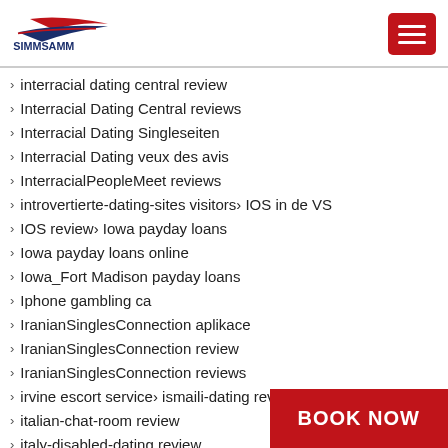[Figure (logo): SIMMSAMM logo with red and blue stylized swoosh and text]
interracial dating central review
Interracial Dating Central reviews
Interracial Dating Singleseiten
Interracial Dating veux des avis
InterracialPeopleMeet reviews
introvertierte-dating-sites visitors > IOS in de VS
IOS review > Iowa payday loans
Iowa payday loans online
Iowa_Fort Madison payday loans
Iphone gambling ca
IranianSinglesConnection aplikace
IranianSinglesConnection review
IranianSinglesConnection reviews
irvine escort service > ismaili-dating review
italian-chat-room review
italy-disabled-dating review